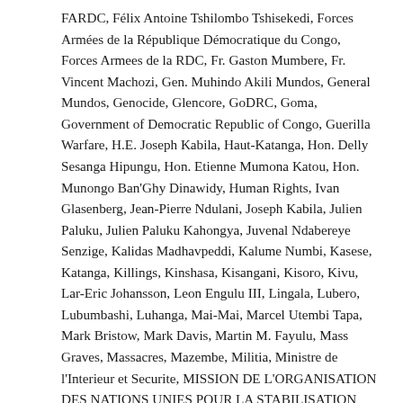FARDC, Félix Antoine Tshilombo Tshisekedi, Forces Armées de la République Démocratique du Congo, Forces Armees de la RDC, Fr. Gaston Mumbere, Fr. Vincent Machozi, Gen. Muhindo Akili Mundos, General Mundos, Genocide, Glencore, GoDRC, Goma, Government of Democratic Republic of Congo, Guerilla Warfare, H.E. Joseph Kabila, Haut-Katanga, Hon. Delly Sesanga Hipungu, Hon. Etienne Mumona Katou, Hon. Munongo Ban'Ghy Dinawidy, Human Rights, Ivan Glasenberg, Jean-Pierre Ndulani, Joseph Kabila, Julien Paluku, Julien Paluku Kahongya, Juvenal Ndabereye Senzige, Kalidas Madhavpeddi, Kalume Numbi, Kasese, Katanga, Killings, Kinshasa, Kisangani, Kisoro, Kivu, Lar-Eric Johansson, Leon Engulu III, Lingala, Lubero, Lubumbashi, Luhanga, Mai-Mai, Marcel Utembi Tapa, Mark Bristow, Mark Davis, Martin M. Fayulu, Mass Graves, Massacres, Mazembe, Militia, Ministre de l'Interieur et Securite, MISSION DE L'ORGANISATION DES NATIONS UNIES POUR LA STABILISATION EN RD CONGO, MMG Limited, MONUSCO, Mountain International, Movement, Nord Kivu, North Kivu, Onesime Kukatula Falash, P.S.N., Peacekeepers, Peuple